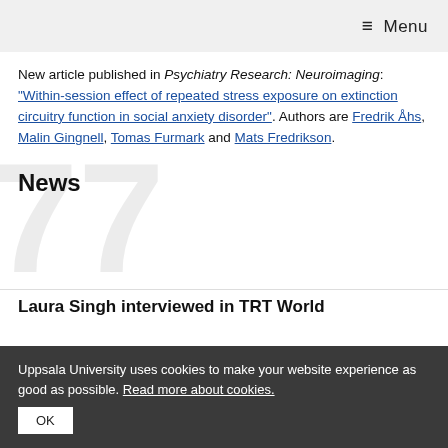≡ Menu
New article published in Psychiatry Research: Neuroimaging: "Within-session effect of repeated stress exposure on extinction circuitry function in social anxiety disorder". Authors are Fredrik Åhs, Malin Gingnell, Tomas Furmark and Mats Fredrikson.
News
Laura Singh interviewed in TRT World
Uppsala University uses cookies to make your website experience as good as possible. Read more about cookies.